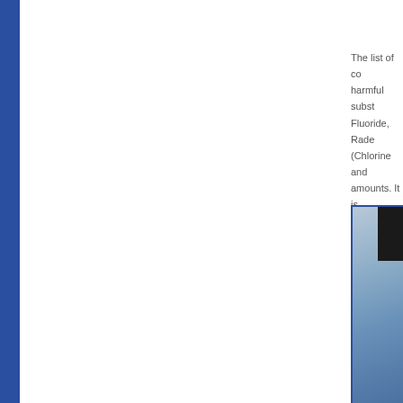The list of co harmful subst Fluoride, Rade (Chlorine and amounts. It is kept to a mini
[Figure (photo): Photo of water filtration or treatment equipment, showing blue containers or filters against a wooden background, with a dark element visible at the top right.]